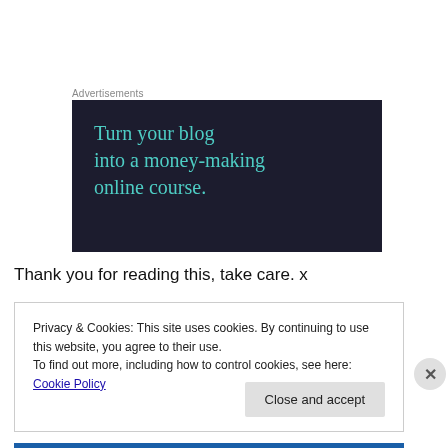Advertisements
[Figure (screenshot): Dark navy advertisement banner with teal text reading: Turn your blog into a money-making online course. A teal button is partially visible at the bottom.]
Thank you for reading this, take care. x
Privacy & Cookies: This site uses cookies. By continuing to use this website, you agree to their use.
To find out more, including how to control cookies, see here: Cookie Policy
Close and accept